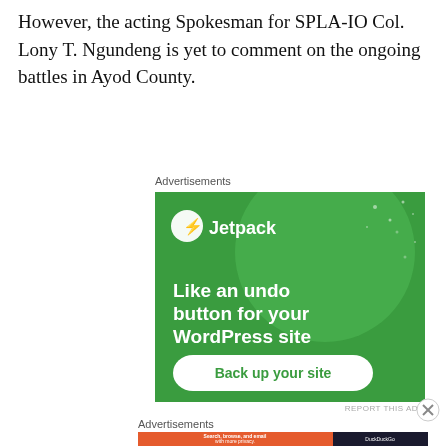However, the acting Spokesman for SPLA-IO Col. Lony T. Ngundeng is yet to comment on the ongoing battles in Ayod County.
Advertisements
[Figure (illustration): Jetpack advertisement: green background with large circle, Jetpack logo and name, text 'Like an undo button for your WordPress site', and a 'Back up your site' button.]
Advertisements
[Figure (illustration): DuckDuckGo advertisement: orange and dark background, text 'Search, browse, and email with more privacy. All in One Free App', DuckDuckGo logo on right.]